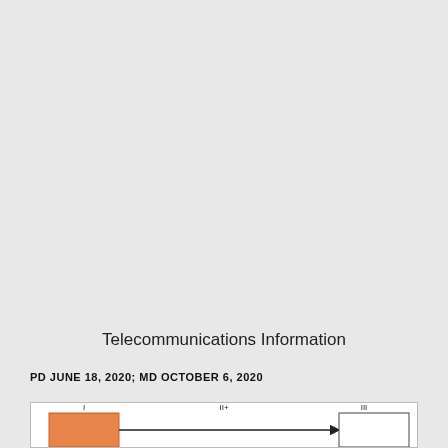Telecommunications Information
PD JUNE 18, 2020; MD OCTOBER 6, 2020
[Figure (flowchart): Flowchart diagram showing two boxes connected by an arrow. Left box (I) is filled orange/salmon color. An arrow labeled 'II+' points right to box (III) which is unfilled/white. Partially visible at bottom of page.]